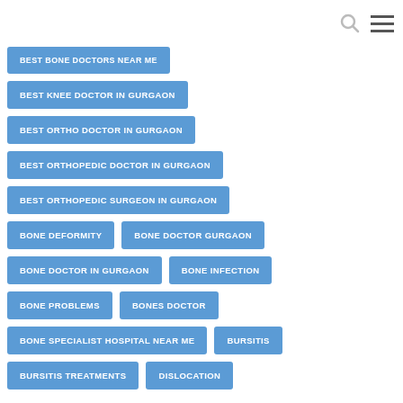BEST BONE DOCTORS NEAR ME
BEST KNEE DOCTOR IN GURGAON
BEST ORTHO DOCTOR IN GURGAON
BEST ORTHOPEDIC DOCTOR IN GURGAON
BEST ORTHOPEDIC SURGEON IN GURGAON
BONE DEFORMITY
BONE DOCTOR GURGAON
BONE DOCTOR IN GURGAON
BONE INFECTION
BONE PROBLEMS
BONES DOCTOR
BONE SPECIALIST HOSPITAL NEAR ME
BURSITIS
BURSITIS TREATMENTS
DISLOCATION